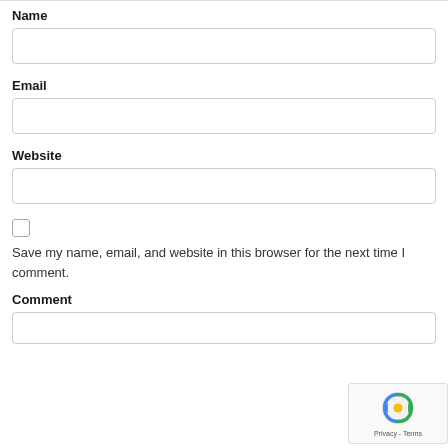Name
[Name input field]
Email
[Email input field]
Website
[Website input field]
Save my name, email, and website in this browser for the next time I comment.
Comment
[Comment input field]